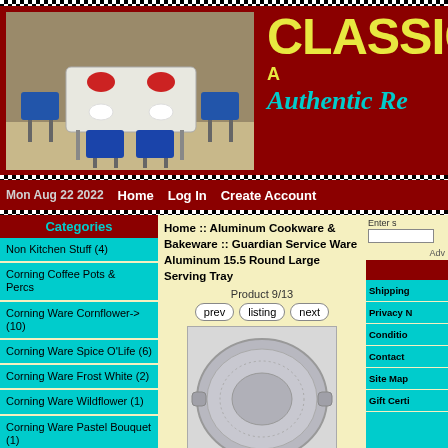[Figure (screenshot): Website banner with retro diner photo on left (blue chairs, white table) and 'CLASSIC' in yellow text with 'Authentic Re' in teal italic on red background]
Mon Aug 22 2022   Home   Log In   Create Account
Categories
Home ::  Aluminum Cookware & Bakeware ::  Guardian Service Ware Aluminum 15.5 Round Large Serving Tray
Product 9/13
Non Kitchen Stuff (4)
Corning Coffee Pots & Percs
Corning Ware Cornflower-> (10)
Corning Ware Spice O'Life (6)
Corning Ware Frost White (2)
Corning Ware Wildflower (1)
Corning Ware Pastel Bouquet (1)
[Figure (photo): Round aluminum serving tray, silver/gray color, viewed from above, with two small handles on sides]
Shipping
Privacy N
Conditio
Contact
Site Map
Gift Certi